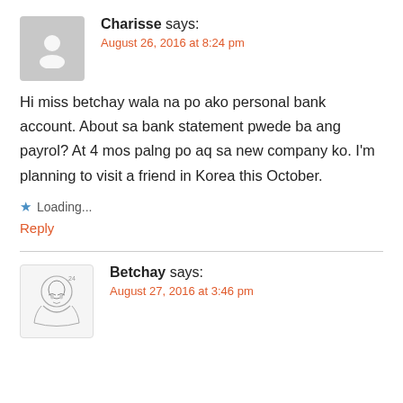Charisse says:
August 26, 2016 at 8:24 pm
Hi miss betchay wala na po ako personal bank account. About sa bank statement pwede ba ang payrol? At 4 mos palng po aq sa new company ko. I'm planning to visit a friend in Korea this October.
Loading...
Reply
Betchay says:
August 27, 2016 at 3:46 pm